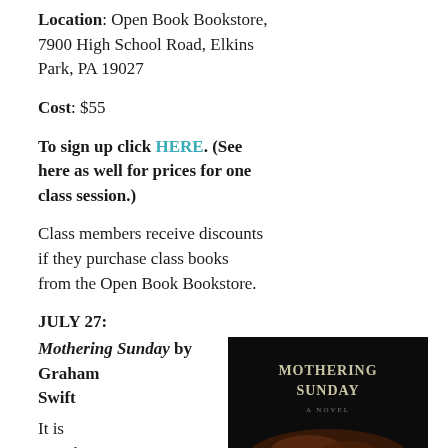Location: Open Book Bookstore, 7900 High School Road, Elkins Park, PA 19027
Cost: $55
To sign up click HERE. (See here as well for prices for one class session.)
Class members receive discounts if they purchase class books from the Open Book Bookstore.
JULY 27:
Mothering Sunday by Graham Swift
It is March 30,
[Figure (photo): Book cover of Mothering Sunday - dark background with title text and author name]